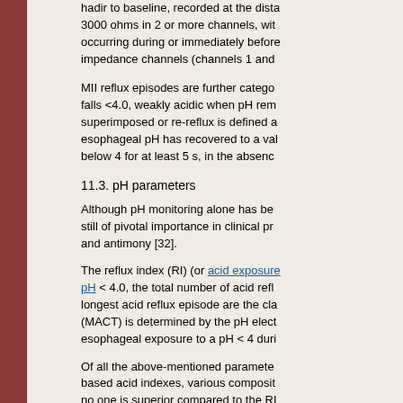hadir to baseline, recorded at the dista 3000 ohms in 2 or more channels, wit occurring during or immediately before impedance channels (channels 1 and
MII reflux episodes are further catego falls <4.0, weakly acidic when pH rem superimposed or re-reflux is defined a esophageal pH has recovered to a val below 4 for at least 5 s, in the absenc
11.3. pH parameters
Although pH monitoring alone has be still of pivotal importance in clinical pr and antimony [32].
The reflux index (RI) (or acid exposure pH < 4.0, the total number of acid refl longest acid reflux episode are the cla (MACT) is determined by the pH elect esophageal exposure to a pH < 4 duri
Of all the above-mentioned paramete based acid indexes, various composit no one is superior compared to the RI
11.4. Impedance-based parameters
Quantitative MII analysis consists on t